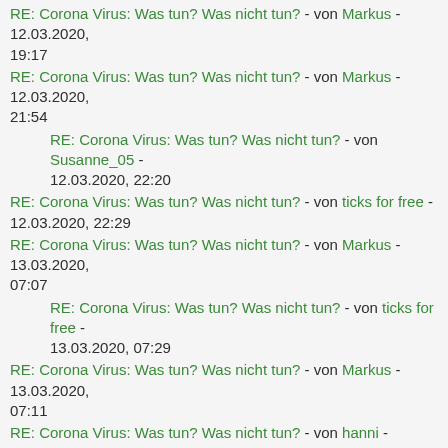RE: Corona Virus: Was tun? Was nicht tun? - von Markus - 12.03.2020, 19:17
RE: Corona Virus: Was tun? Was nicht tun? - von Markus - 12.03.2020, 21:54
RE: Corona Virus: Was tun? Was nicht tun? - von Susanne_05 - 12.03.2020, 22:20
RE: Corona Virus: Was tun? Was nicht tun? - von ticks for free - 12.03.2020, 22:29
RE: Corona Virus: Was tun? Was nicht tun? - von Markus - 13.03.2020, 07:07
RE: Corona Virus: Was tun? Was nicht tun? - von ticks for free - 13.03.2020, 07:29
RE: Corona Virus: Was tun? Was nicht tun? - von Markus - 13.03.2020, 07:11
RE: Corona Virus: Was tun? Was nicht tun? - von hanni - 13.03.2020, 07:45
RE: Corona Virus: Was tun? Was nicht tun? - von urmel57 - 13.03.2020, 07:49
RE: Corona Virus: Was tun? Was nicht tun? - von Susanne_05 - 13.03.2020, 09:45
RE: Corona Virus: Was tun? Was nicht tun? - von ticks for free - 13.03.2020, 09:33
RE: Corona Virus: Was tun? Was nicht tun? - von AnjaM - 13.03.2020, 08:11